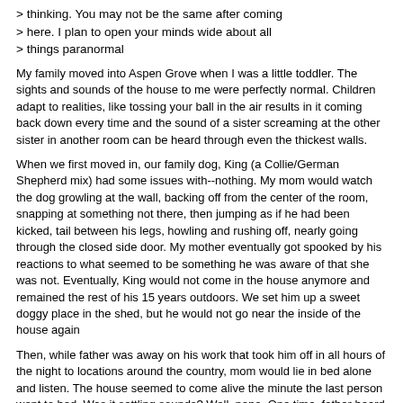> thinking. You may not be the same after coming
> here. I plan to open your minds wide about all
> things paranormal
My family moved into Aspen Grove when I was a little toddler. The sights and sounds of the house to me were perfectly normal. Children adapt to realities, like tossing your ball in the air results in it coming back down every time and the sound of a sister screaming at the other sister in another room can be heard through even the thickest walls.
When we first moved in, our family dog, King (a Collie/German Shepherd mix) had some issues with--nothing. My mom would watch the dog growling at the wall, backing off from the center of the room, snapping at something not there, then jumping as if he had been kicked, tail between his legs, howling and rushing off, nearly going through the closed side door. My mother eventually got spooked by his reactions to what seemed to be something he was aware of that she was not. Eventually, King would not come in the house anymore and remained the rest of his 15 years outdoors. We set him up a sweet doggy place in the shed, but he would not go near the inside of the house again
Then, while father was away on his work that took him off in all hours of the night to locations around the country, mom would lie in bed alone and listen. The house seemed to come alive the minute the last person went to bed. Was it settling sounds? Well, nope. One time, father heard it too and commented. She felt great relief.
One day, an old owner of the house visited and lightly mentioned the ghosts. My mother blinked. She was not a believer in ghosts, but the woman explained a story that gave my mother shivers.
"During the Civil War when the home was being used as a field hospital, a